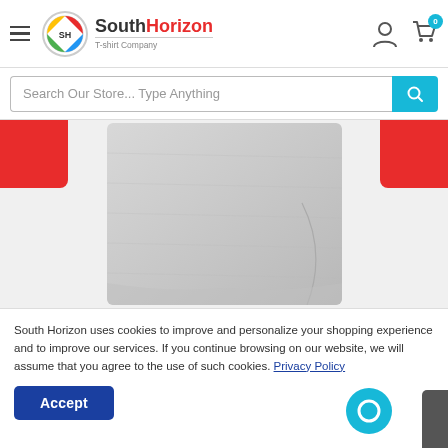[Figure (screenshot): South Horizon T-shirt Company website header with hamburger menu, logo, user icon, and cart icon with badge showing 0]
[Figure (screenshot): Search bar with placeholder text 'Search Our Store... Type Anything' and a cyan search button]
[Figure (photo): Close-up photo of a gray t-shirt with red accents on the sides, showing the fabric texture]
South Horizon uses cookies to improve and personalize your shopping experience and to improve our services. If you continue browsing on our website, we will assume that you agree to the use of such cookies. Privacy Policy
Accept